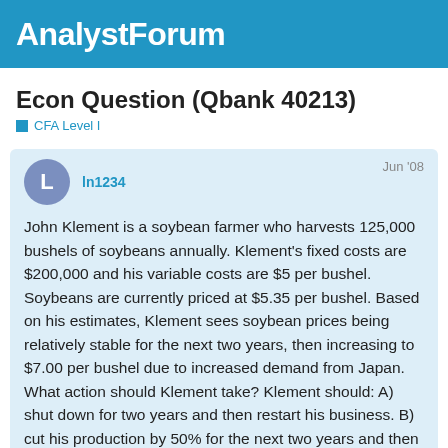AnalystForum
Econ Question (Qbank 40213)
CFA Level I
ln1234   Jun '08

John Klement is a soybean farmer who harvests 125,000 bushels of soybeans annually. Klement's fixed costs are $200,000 and his variable costs are $5 per bushel. Soybeans are currently priced at $5.35 per bushel. Based on his estimates, Klement sees soybean prices being relatively stable for the next two years, then increasing to $7.00 per bushel due to increased demand from Japan. What action should Klement take? Klement should: A) shut down for two years and then restart his business. B) cut his production by 50% for the next two years and then resume full production. C) shut down his business permanently. D) continue operat as usual.
1 / 10